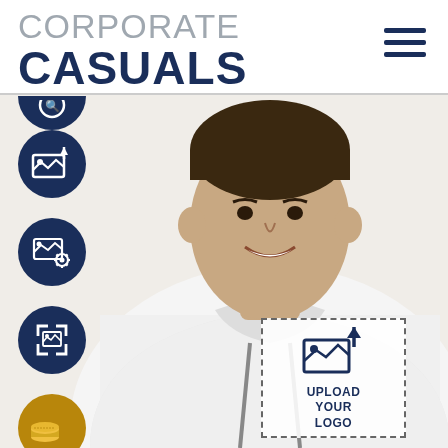CORPORATE CASUALS
[Figure (screenshot): Mobile website screenshot for Corporate Casuals showing a man in a white hoodie with upload logo area, side toolbar icons, and navigation header]
UPLOAD YOUR LOGO